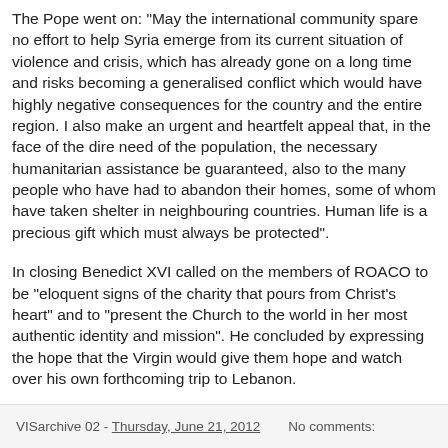The Pope went on: "May the international community spare no effort to help Syria emerge from its current situation of violence and crisis, which has already gone on a long time and risks becoming a generalised conflict which would have highly negative consequences for the country and the entire region. I also make an urgent and heartfelt appeal that, in the face of the dire need of the population, the necessary humanitarian assistance be guaranteed, also to the many people who have had to abandon their homes, some of whom have taken shelter in neighbouring countries. Human life is a precious gift which must always be protected".
In closing Benedict XVI called on the members of ROACO to be "eloquent signs of the charity that pours from Christ's heart" and to "present the Church to the world in her most authentic identity and mission". He concluded by expressing the hope that the Virgin would give them hope and watch over his own forthcoming trip to Lebanon.
VISarchive 02 - Thursday, June 21, 2012   No comments: